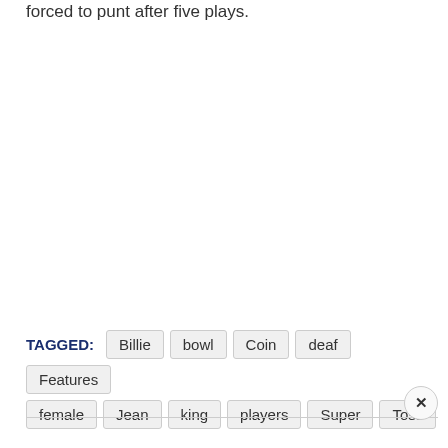forced to punt after five plays.
TAGGED: Billie bowl Coin deaf Features female Jean king players Super Toss